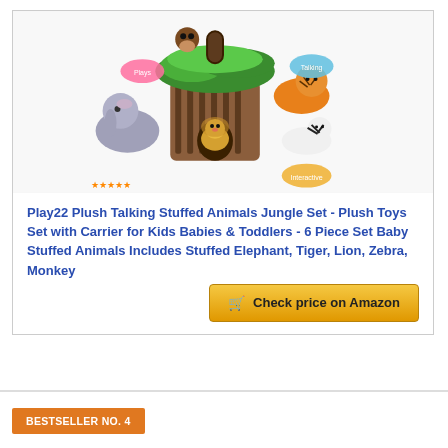[Figure (photo): Product image of Play22 Plush Talking Stuffed Animals Jungle Set showing a tree-house carrier with multiple stuffed animals including elephant, tiger, lion, zebra, and monkey]
Play22 Plush Talking Stuffed Animals Jungle Set - Plush Toys Set with Carrier for Kids Babies & Toddlers - 6 Piece Set Baby Stuffed Animals Includes Stuffed Elephant, Tiger, Lion, Zebra, Monkey
Check price on Amazon
BESTSELLER NO. 4